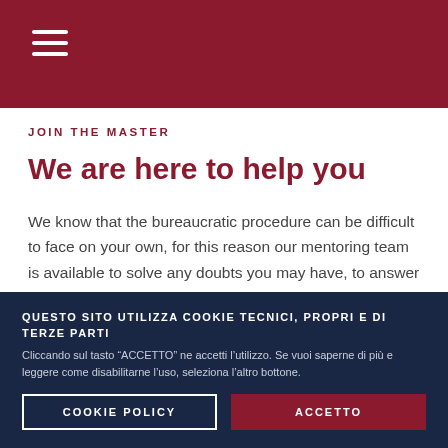JOIN THE MASTER
We are here to help you
We know that the bureaucratic procedure can be difficult to face on your own, for this reason our mentoring team is available to solve any doubts you may have, to answer any questions and always ready to help and support you during all steps of the application process.
QUESTO SITO UTILIZZA COOKIE TECNICI, PROPRI E DI TERZE PARTI
Cliccando sul tasto “ACCETTO” ne accetti l’utilizzo. Se vuoi saperne di più e leggere come disabilitarne l’uso, seleziona l’altro bottone.
COOKIE POLICY
ACCETTO